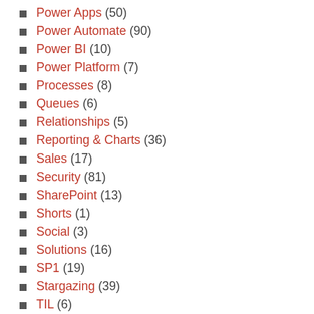Power Apps (50)
Power Automate (90)
Power BI (10)
Power Platform (7)
Processes (8)
Queues (6)
Relationships (5)
Reporting & Charts (36)
Sales (17)
Security (81)
SharePoint (13)
Shorts (1)
Social (3)
Solutions (16)
SP1 (19)
Stargazing (39)
TIL (6)
Truckstop (48)
Uncategorized (2)